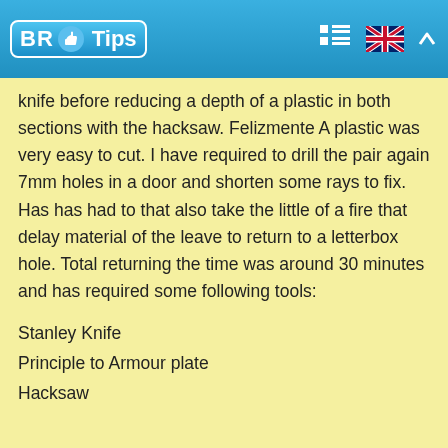BR Tips
knife before reducing a depth of a plastic in both sections with the hacksaw. Felizmente A plastic was very easy to cut. I have required to drill the pair again 7mm holes in a door and shorten some rays to fix. Has has had to that also take the little of a fire that delay material of the leave to return to a letterbox hole. Total returning the time was around 30 minutes and has required some following tools:
Stanley Knife
Principle to Armour plate
Hacksaw